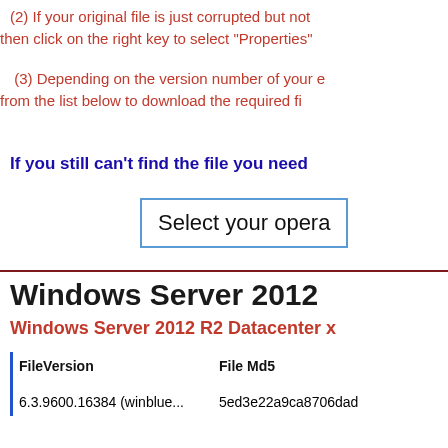(2) If your original file is just corrupted but not then click on the right key to select "Properties"
(3) Depending on the version number of your e from the list below to download the required fi
If you still can't find the file you need
Select your opera
Windows Server 2012
Windows Server 2012 R2 Datacenter x
| FileVersion | File Md5 |
| --- | --- |
| 6.3.9600.16384 (winblue... | 5ed3e22a9ca8706dad |